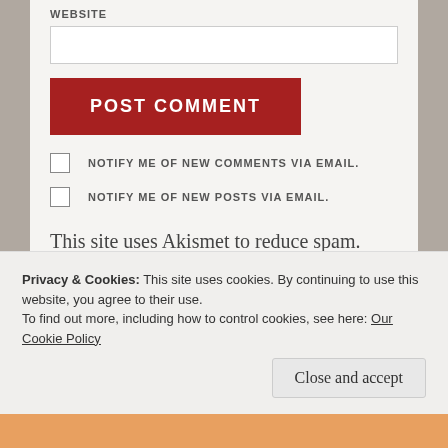WEBSITE
POST COMMENT
NOTIFY ME OF NEW COMMENTS VIA EMAIL.
NOTIFY ME OF NEW POSTS VIA EMAIL.
This site uses Akismet to reduce spam. Learn how your comment data is processed.
Privacy & Cookies: This site uses cookies. By continuing to use this website, you agree to their use.
To find out more, including how to control cookies, see here: Our Cookie Policy
Close and accept